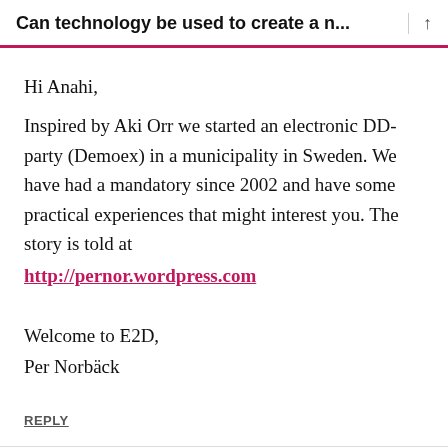Can technology be used to create a n...
Hi Anahi,
Inspired by Aki Orr we started an electronic DD-party (Demoex) in a municipality in Sweden. We have had a mandatory since 2002 and have some practical experiences that might interest you. The story is told at http://pernor.wordpress.com
Welcome to E2D,
Per Norbäck
REPLY